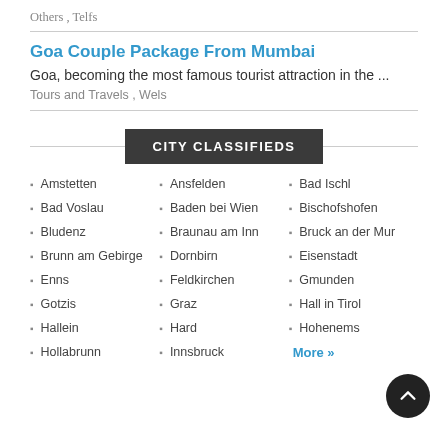Others , Telfs
Goa Couple Package From Mumbai
Goa, becoming the most famous tourist attraction in the ...
Tours and Travels , Wels
CITY CLASSIFIEDS
Amstetten
Ansfelden
Bad Ischl
Bad Voslau
Baden bei Wien
Bischofshofen
Bludenz
Braunau am Inn
Bruck an der Mur
Brunn am Gebirge
Dornbirn
Eisenstadt
Enns
Feldkirchen
Gmunden
Gotzis
Graz
Hall in Tirol
Hallein
Hard
Hohenems
Hollabrunn
Innsbruck
More »